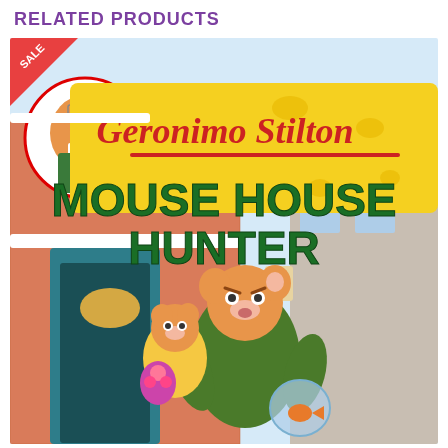RELATED PRODUCTS
[Figure (photo): Book cover of Geronimo Stilton 'Mouse House Hunter' showing cartoon mouse characters being evicted from a building in a snowy town scene, with a SALE badge in the top-left corner.]